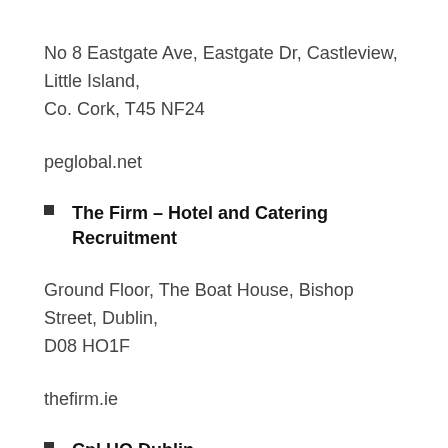No 8 Eastgate Ave, Eastgate Dr, Castleview, Little Island, Co. Cork, T45 NF24
peglobal.net
The Firm – Hotel and Catering Recruitment
Ground Floor, The Boat House, Bishop Street, Dublin, D08 HO1F
thefirm.ie
Cpl HQ Dublin